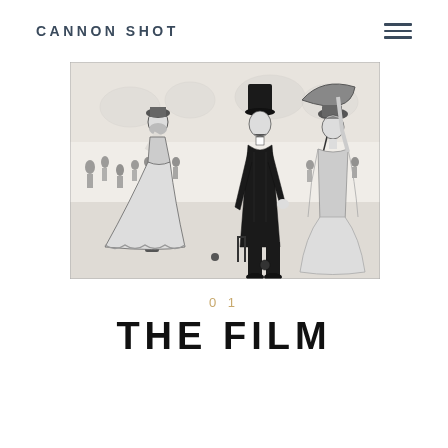CANNON SHOT
[Figure (illustration): Victorian era black and white engraving illustration showing a croquet game scene. In the foreground, a woman in a long Victorian dress and hat is bent over playing croquet with a mallet. A man in a top hat and formal suit and a woman holding a parasol/umbrella stand watching in the center-right. A large crowd of spectators is visible in the background.]
0 1
THE FILM